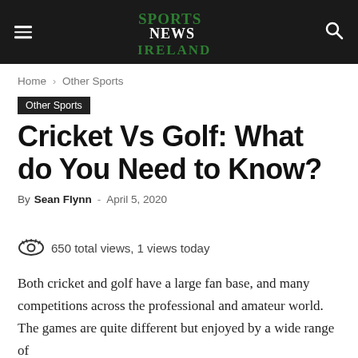Sports News Ireland
Home › Other Sports
Other Sports
Cricket Vs Golf: What do You Need to Know?
By Sean Flynn - April 5, 2020
650 total views, 1 views today
Both cricket and golf have a large fan base, and many competitions across the professional and amateur world. The games are quite different but enjoyed by a wide range of